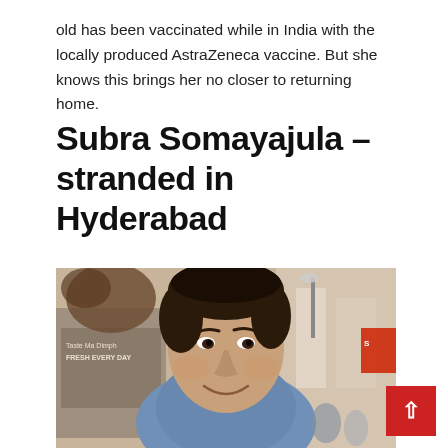old has been vaccinated while in India with the locally produced AstraZeneca vaccine. But she knows this brings her no closer to returning home.
Subra Somayajula – stranded in Hyderabad
[Figure (photo): Photo of Subra Somayajula, a man smiling, photographed in what appears to be a busy street market or shopping area with signs visible in the background.]